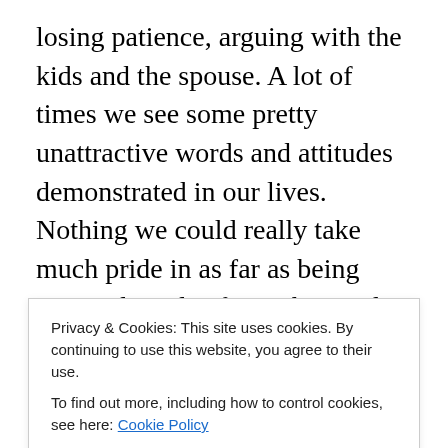losing patience, arguing with the kids and the spouse. A lot of times we see some pretty unattractive words and attitudes demonstrated in our lives. Nothing we could really take much pride in as far as being spiritual or glorifying the Lord. We may get pretty down on ourselves in the light of our many shortcomings and feel there is really no hope that I could be anything in Christ. “Look what a mess I am and how totally unchristian I can act.” Most of us can have those “flesh days” when we are just a mess spiritually. Our spiritual enemy preys on our vulnerabilities. I believe situations are often set up by the
Privacy & Cookies: This site uses cookies. By continuing to use this website, you agree to their use.
To find out more, including how to control cookies, see here: Cookie Policy
tempted in the areas of your greatest weaknesses. As